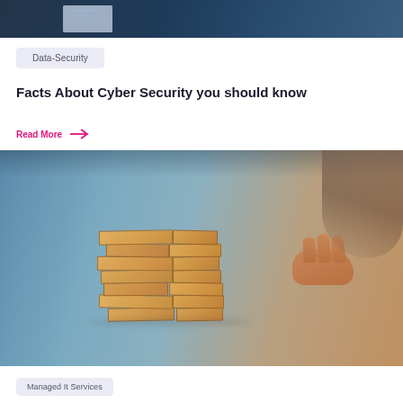[Figure (photo): Top portion of a photo showing a laptop or tablet screen with text on a blue-toned background]
Data-Security
Facts About Cyber Security you should know
Read More →
[Figure (photo): Close-up photo of a child playing Jenga, carefully removing a wooden block from a tall tower of stacked wooden blocks, with blurred blue background]
Managed It Services